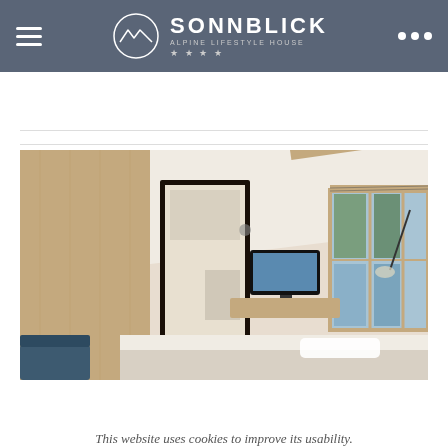SONNBLICK ALPINE LIFESTYLE HOUSE
DETAILS & RATES
[Figure (photo): Hotel room interior showing wooden paneling, bathroom doorway, TV, and large windows with mountain forest view and a bed with white linens.]
ACCEPT
More information
This website uses cookies to improve its usability.
Call us  Mail  Inquiry  Book now